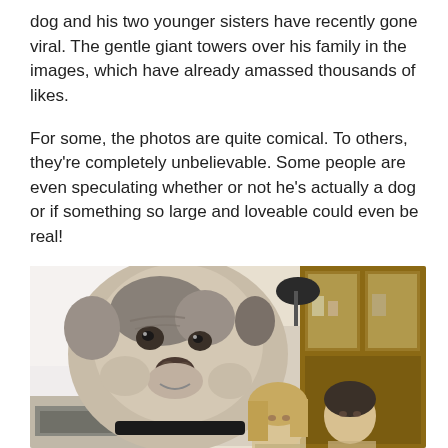dog and his two younger sisters have recently gone viral. The gentle giant towers over his family in the images, which have already amassed thousands of likes.
For some, the photos are quite comical. To others, they're completely unbelievable. Some people are even speculating whether or not he's actually a dog or if something so large and loveable could even be real!
[Figure (photo): A very large dog (appears to be a large bulldog/mastiff type breed with white and grey coloring) sitting next to two people in a kitchen/dining area. The dog's head towers over the people. Wooden cabinets visible in background on the right.]